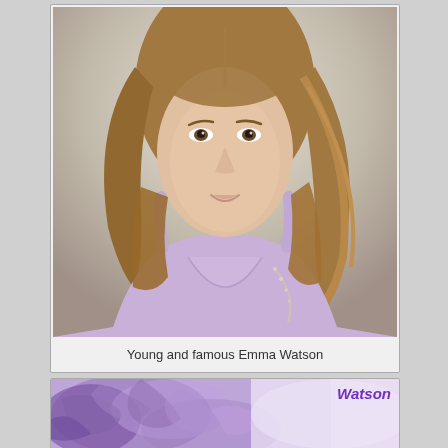[Figure (photo): Portrait photo of a young woman with long brown hair wearing a lavender/purple dress, smiling at the camera against a light background]
Young and famous Emma Watson
[Figure (photo): Partial view of another photo with purple/violet tones, showing a figure with purple-tinted hair or feathers. The word 'Watson' appears in bold purple italic text in the top right corner.]